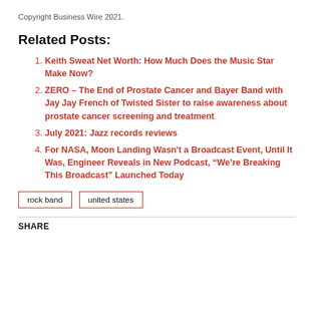Copyright Business Wire 2021.
Related Posts:
Keith Sweat Net Worth: How Much Does the Music Star Make Now?
ZERO – The End of Prostate Cancer and Bayer Band with Jay Jay French of Twisted Sister to raise awareness about prostate cancer screening and treatment
July 2021: Jazz records reviews
For NASA, Moon Landing Wasn't a Broadcast Event, Until It Was, Engineer Reveals in New Podcast, “We’re Breaking This Broadcast” Launched Today
rock band   united states
SHARE